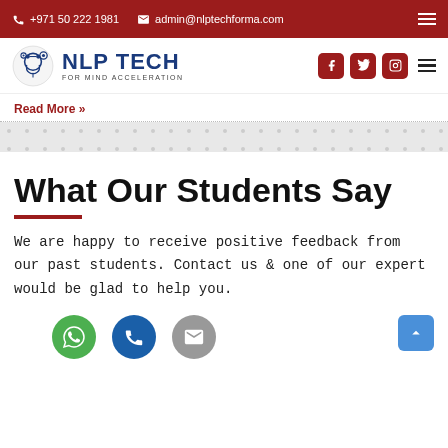+971 50 222 1981   admin@nlptechforma.com
[Figure (logo): NLP Tech For Mind Acceleration logo with gear/brain icon]
Read More »
What Our Students Say
We are happy to receive positive feedback from our past students. Contact us & one of our expert would be glad to help you.
[Figure (infographic): Three contact icons: WhatsApp (green), Phone (blue), Email (gray)]